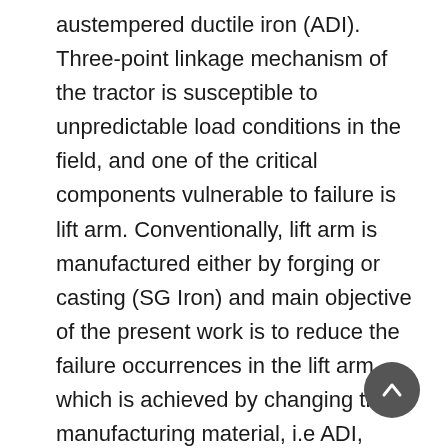austempered ductile iron (ADI). Three-point linkage mechanism of the tractor is susceptible to unpredictable load conditions in the field, and one of the critical components vulnerable to failure is lift arm. Conventionally, lift arm is manufactured either by forging or casting (SG Iron) and main objective of the present work is to reduce the failure occurrences in the lift arm, which is achieved by changing the manufacturing material, i.e ADI, without changing existing design. Effect of four pertinent variables of manufacturing ADI, viz. austenitizing temperature, austenitizing time, austempering temperature, austempering time, was investigated using Taguchi method for design of experiments. To analyze the effect of parameters on the mechanical properties, mean average and signal-to-noise (S/N) ratio was calculated based on the design of experiments with L9 orthogonal